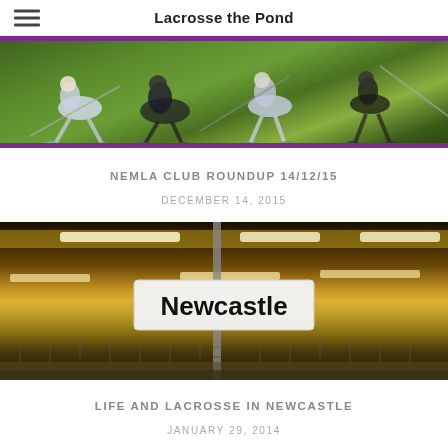Lacrosse the Pond
[Figure (photo): Lacrosse players in action on a grass field, players tackling/scrambling for the ball, purple border top and bottom]
NEMLA CLUB ROUNDUP 14/12/15
DECEMBER 14, 2015
[Figure (photo): Newcastle train station sign on a platform pole with overhead lights and platform visible in background]
LIFE AND LACROSSE IN NEWCASTLE
JANUARY 29, 2014